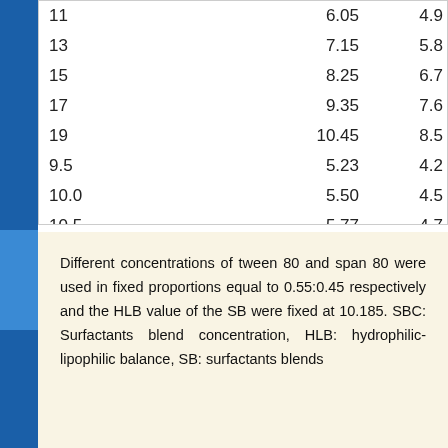| 11 | 6.05 | 4.9 |
| 13 | 7.15 | 5.8 |
| 15 | 8.25 | 6.7 |
| 17 | 9.35 | 7.6 |
| 19 | 10.45 | 8.5 |
| 9.5 | 5.23 | 4.2 |
| 10.0 | 5.50 | 4.5 |
| 10.5 | 5.77 | 4.7 |
Different concentrations of tween 80 and span 80 were used in fixed proportions equal to 0.55:0.45 respectively and the HLB value of the SB were fixed at 10.185. SBC: Surfactants blend concentration, HLB: hydrophilic-lipophilic balance, SB: surfactants blends